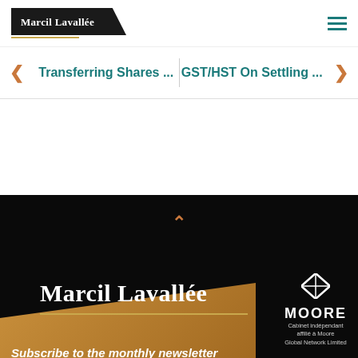Marcil Lavallée
Transferring Shares ... | GST/HST On Settling ...
[Figure (logo): Marcil Lavallée footer logo with gold underline, Moore Global Network affiliation badge, and Subscribe to the monthly newsletter text on dark background]